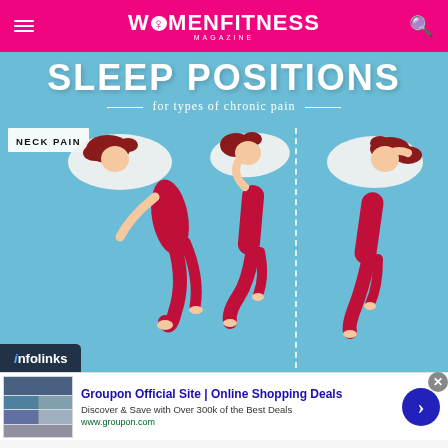WOMENFITNESS MAGAZINE
[Figure (infographic): Sleep positions infographic for types of chronic pain. Shows 'SLEEP POSITIONS for types of chronic pain' title. Section labeled 'NECK PAIN' with three illustrated figures of women in different sleeping positions on pillows, shown on a light blue background. A dotted vertical divider separates the left two figures from the right one.]
[Figure (other): Infolinks advertisement overlay bar at bottom left of infographic.]
[Figure (other): Groupon advertisement banner: 'Groupon Official Site | Online Shopping Deals — Discover & Save with Over 300k of the Best Deals — www.groupon.com' with thumbnail images and blue arrow button. Close X button top right.]